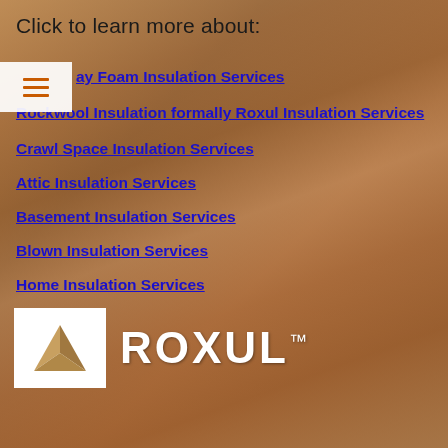Click to learn more about:
Spray Foam Insulation Services
Rockwool Insulation formally Roxul Insulation Services
Crawl Space Insulation Services
Attic Insulation Services
Basement Insulation Services
Blown Insulation Services
Home Insulation Services
[Figure (logo): ROXUL logo: white square with stylized mountain/peak icon and ROXUL wordmark in white text]